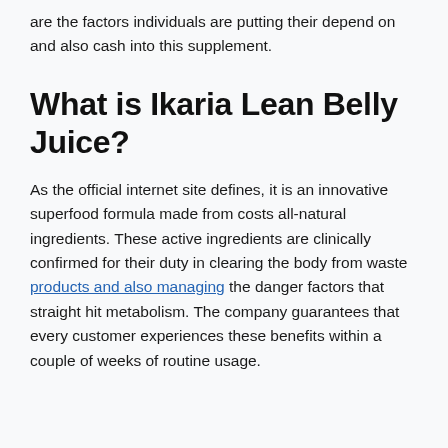are the factors individuals are putting their depend on and also cash into this supplement.
What is Ikaria Lean Belly Juice?
As the official internet site defines, it is an innovative superfood formula made from costs all-natural ingredients. These active ingredients are clinically confirmed for their duty in clearing the body from waste products and also managing the danger factors that straight hit metabolism. The company guarantees that every customer experiences these benefits within a couple of weeks of routine usage.